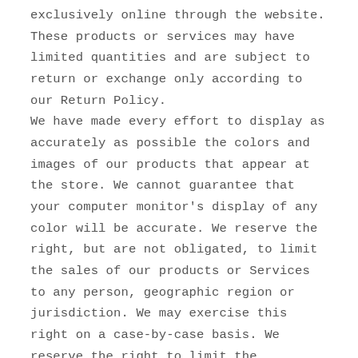exclusively online through the website. These products or services may have limited quantities and are subject to return or exchange only according to our Return Policy. We have made every effort to display as accurately as possible the colors and images of our products that appear at the store. We cannot guarantee that your computer monitor's display of any color will be accurate. We reserve the right, but are not obligated, to limit the sales of our products or Services to any person, geographic region or jurisdiction. We may exercise this right on a case-by-case basis. We reserve the right to limit the quantities of any products or services that we offer. All descriptions of products or product pricing are subject to change at anytime without notice, at the sole discretion of us. We reserve the right to discontinue any product at any time. Any offer for any product or service